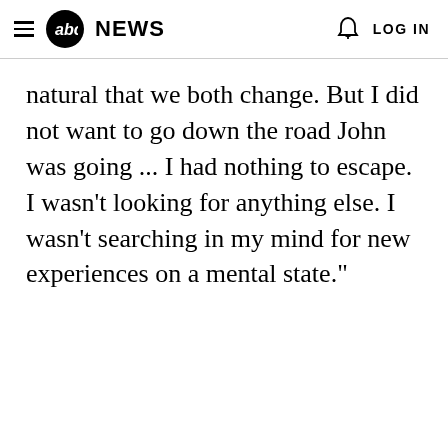abc NEWS   LOG IN
natural that we both change. But I did not want to go down the road John was going ... I had nothing to escape. I wasn't looking for anything else. I wasn't searching in my mind for new experiences on a mental state."